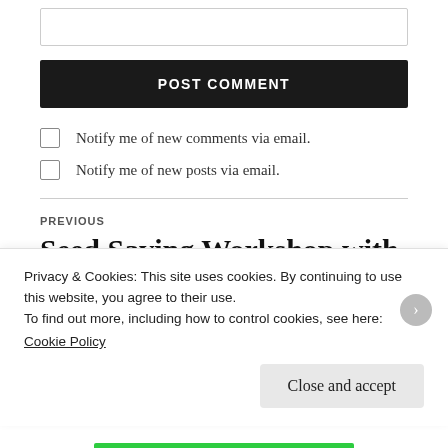[Figure (screenshot): Text input box for comment field]
POST COMMENT
Notify me of new comments via email.
Notify me of new posts via email.
PREVIOUS
Seed Saving Workshop with Chef Mark Haskell
Privacy & Cookies: This site uses cookies. By continuing to use this website, you agree to their use.
To find out more, including how to control cookies, see here:
Cookie Policy
Close and accept